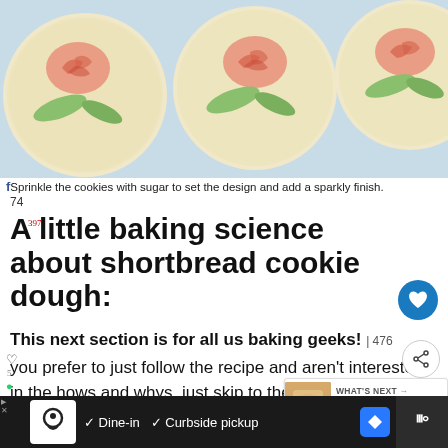[Figure (photo): Three round shortbread cookies decorated with pink/red rose icing and green leaf icing on a light blue background]
Sprinkle the cookies with sugar to set the design and add a sparkly finish.
A little baking science about shortbread cookie dough:
This next section is for all us baking geeks! If you prefer to just follow the recipe and aren't interested in the hows and whys, just skip to the recipe and go for it. If you're into the hows and whys of recipe development, keep reading.
[Figure (infographic): Advertisement bar at the bottom: Dine-in, Curbside pickup with restaurant logo]